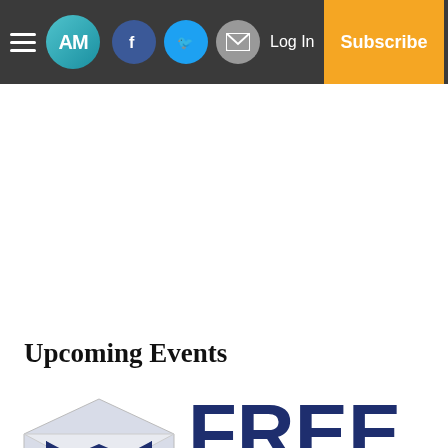AM | Facebook | Twitter | Email | Log In | Subscribe
Upcoming Events
[Figure (logo): Newsletter signup promo with envelope icon containing M logo and FREE text]